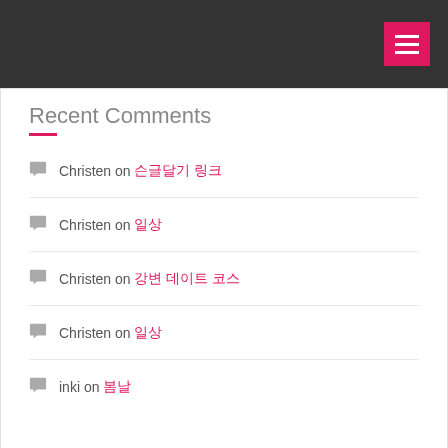Navigation header with hamburger menu
Recent Comments
Christen on 댓글달기 링크
Christen on 일상
Christen on 강변 데이트 코스
Christen on 일상
inki on 봄날
Categories